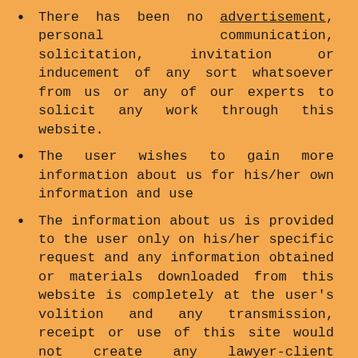There has been no advertisement, personal communication, solicitation, invitation or inducement of any sort whatsoever from us or any of our experts to solicit any work through this website.
The user wishes to gain more information about us for his/her own information and use
The information about us is provided to the user only on his/her specific request and any information obtained or materials downloaded from this website is completely at the user's volition and any transmission, receipt or use of this site would not create any lawyer-client relationship.